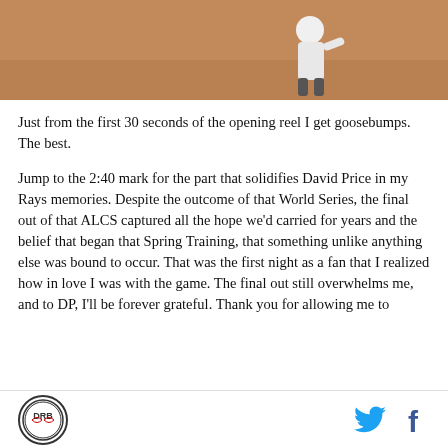[Figure (photo): Baseball action photo showing players on a field, one player sliding and another fielding near a base, one wearing a jersey with 'BAY' visible]
Just from the first 30 seconds of the opening reel I get goosebumps. The best.
Jump to the 2:40 mark for the part that solidifies David Price in my Rays memories. Despite the outcome of that World Series, the final out of that ALCS captured all the hope we'd carried for years and the belief that began that Spring Training, that something unlike anything else was bound to occur. That was the first night as a fan that I realized how in love I was with the game. The final out still overwhelms me, and to DP, I'll be forever grateful. Thank you for allowing me to
DRB logo | Twitter icon | Facebook icon